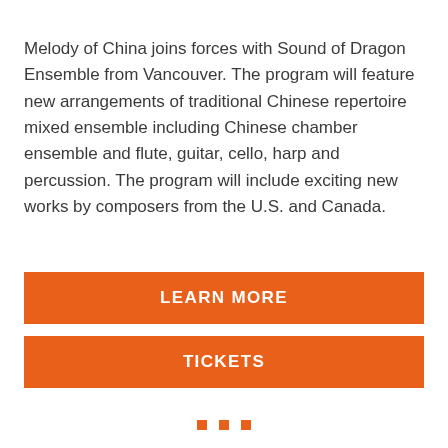Melody of China joins forces with Sound of Dragon Ensemble from Vancouver. The program will feature new arrangements of traditional Chinese repertoire mixed ensemble including Chinese chamber ensemble and flute, guitar, cello, harp and percussion. The program will include exciting new works by composers from the U.S. and Canada.
LEARN MORE
TICKETS